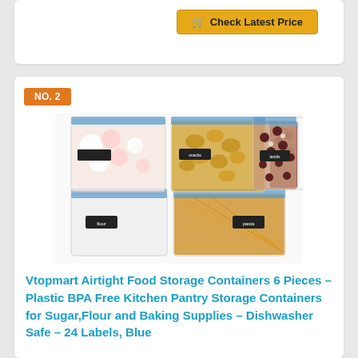[Figure (other): Golden 'Check Latest Price' button with shopping cart icon]
NO. 2
[Figure (photo): Vtopmart airtight food storage containers set of 6, transparent plastic with blue lids, containing cereals, nuts, pasta, flour, with black label stickers]
Vtopmart Airtight Food Storage Containers 6 Pieces – Plastic BPA Free Kitchen Pantry Storage Containers for Sugar,Flour and Baking Supplies – Dishwasher Safe – 24 Labels, Blue